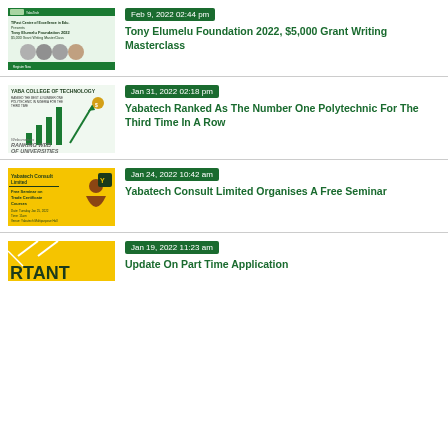[Figure (photo): Tony Elumelu Foundation 2022 $5,000 Grant Writing MasterClass flyer with logos and speaker photos]
Feb 9, 2022 02:44 pm
Tony Elumelu Foundation 2022, $5,000 Grant Writing Masterclass
[Figure (photo): Yaba College of Technology ranking banner showing bar chart with upward arrow and Webometrics Ranking Web of Universities text]
Jan 31, 2022 02:18 pm
Yabatech Ranked As The Number One Polytechnic For The Third Time In A Row
[Figure (photo): Yabatech Consult Limited Free Seminar on Trade Certificate Courses flyer with yellow background and person playing trumpet]
Jan 24, 2022 10:42 am
Yabatech Consult Limited Organises A Free Seminar
[Figure (photo): Important notice image partially visible at bottom of page]
Jan 19, 2022 11:23 am
Update On Part Time Application